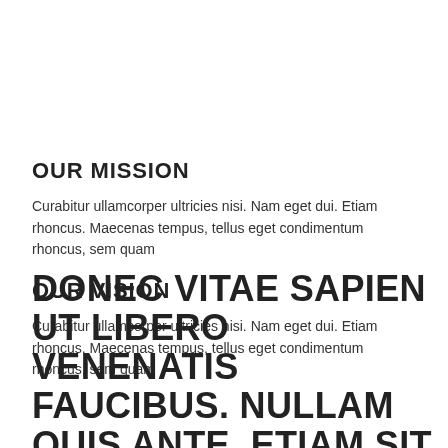OUR MISSION
Curabitur ullamcorper ultricies nisi. Nam eget dui. Etiam rhoncus. Maecenas tempus, tellus eget condimentum rhoncus, sem quam
OUR VISION
Curabitur ullamcorper ultricies nisi. Nam eget dui. Etiam rhoncus. Maecenas tempus, tellus eget condimentum rhoncus, sem quam
DONEC VITAE SAPIEN UT LIBERO VENENATIS FAUCIBUS. NULLAM QUIS ANTE. ETIAM SIT AMET ORCI EGET EROS FAUCIBUS TINCIDUNT.